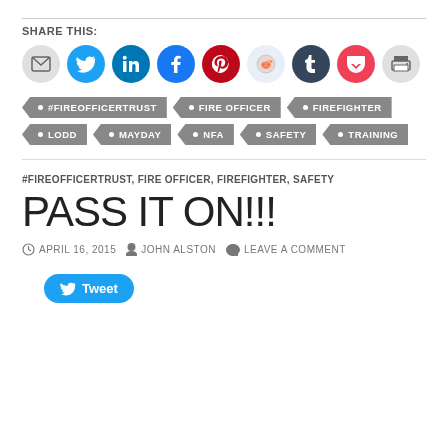SHARE THIS:
[Figure (infographic): Row of social sharing icon circles: email (grey), Twitter (blue), LinkedIn (dark blue), Facebook (blue), Pinterest (red), Reddit (light blue), Tumblr (dark navy), Pocket (red), Print (grey)]
#FIREOFFICERTRUST
FIRE OFFICER
FIREFIGHTER
LODD
MAYDAY
NFA
SAFETY
TRAINING
#FIREOFFICERTRUST, FIRE OFFICER, FIREFIGHTER, SAFETY
PASS IT ON!!!
APRIL 16, 2015   JOHN ALSTON   LEAVE A COMMENT
[Figure (other): Tweet button with Twitter bird icon]